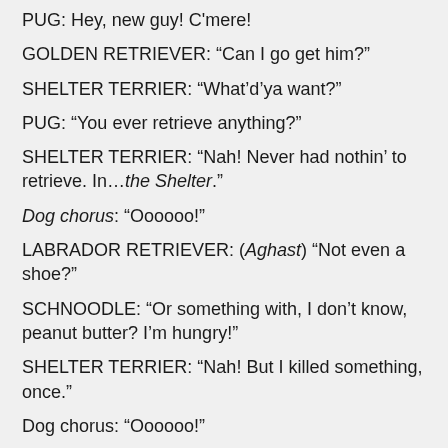PUG:  Hey, new guy! C'mere!
GOLDEN RETRIEVER: “Can I go get him?”
SHELTER TERRIER: “What’d’ya want?”
PUG: “You ever retrieve anything?”
SHELTER TERRIER: “Nah! Never had nothin’ to retrieve. In…the Shelter.”
Dog chorus: “Oooooo!”
LABRADOR RETRIEVER: (Aghast) “Not even a shoe?”
SCHNOODLE: “Or something with, I don’t know, peanut butter? I’m hungry!”
SHELTER TERRIER: “Nah! But I killed something, once.”
Dog chorus: “Oooooo!”
PUG: “What’jah kill?”